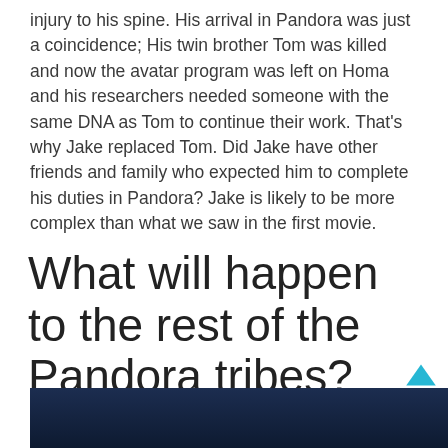injury to his spine. His arrival in Pandora was just a coincidence; His twin brother Tom was killed and now the avatar program was left on Homa and his researchers needed someone with the same DNA as Tom to continue their work. That's why Jake replaced Tom. Did Jake have other friends and family who expected him to complete his duties in Pandora? Jake is likely to be more complex than what we saw in the first movie.
What will happen to the rest of the Pandora tribes?
[Figure (photo): Dark photo showing a person or character, appears to be from Avatar movie, dark blue tones]